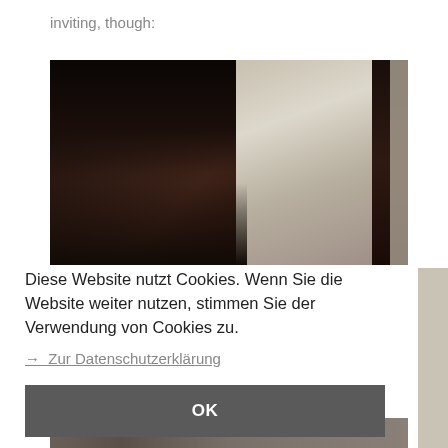inviting, though:
[Figure (photo): Dark interior photograph showing a doorway or corridor with heavy shadows on the left and a lighter area visible through the door opening on the right]
Diese Website nutzt Cookies. Wenn Sie die Website weiter nutzen, stimmen Sie der Verwendung von Cookies zu.
→  Zur Datenschutzerklärung
OK
[Figure (photo): Partial view of another photograph at the bottom of the page]